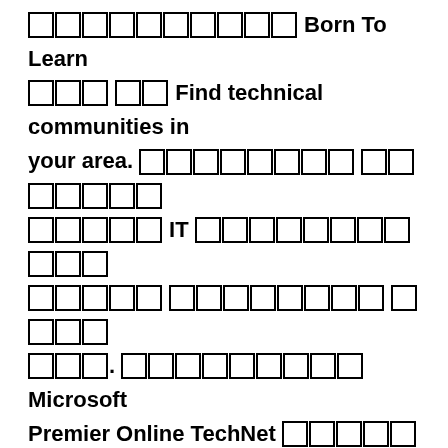□□□□□□□□□□ Born To Learn □□□ □□ Find technical communities in your area. □□□□□□□□ □□□□□□□ □□□□□ IT □□□□□□□□□□□ □□□□□ □□□□□□□□ □□□□ □□□. □□□□□□□□□ Microsoft Premier Online TechNet □□□□□ MSDN □□□□□ □□□□□□□□□□ □□□. IT □□□□□□□□ Microsoft □□□□□ □□□□ Microsoft □□□□ □□ □□□□□.